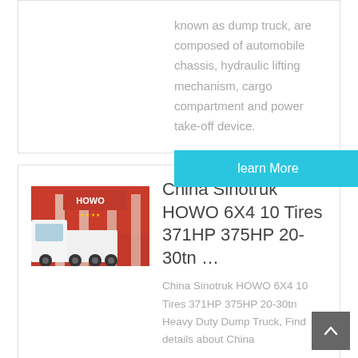known as dump truck, are composed of automobile chassis, hydraulic lifting mechanism, cargo compartment and power take-off device.
learn More
[Figure (photo): Photo of a white Sinotruk HOWO truck in front of a red building with HOWO branding]
China Sinotruk HOWO 6X4 10 Tires 371HP 375HP 20-30tn …
China Sinotruk HOWO 6X4 10 Tires 371HP 375HP 20-30tn Heavy Duty Dump Truck, Find details about China